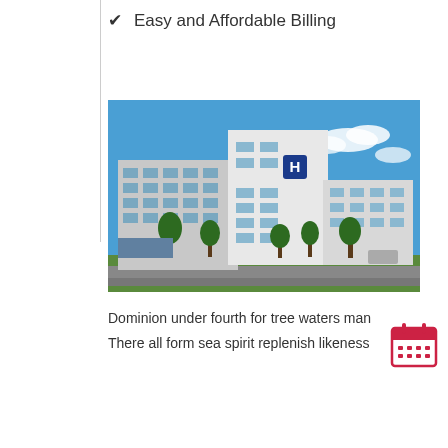Easy and Affordable Billing
[Figure (photo): Modern multi-story hospital building exterior with blue sky background and 'H' hospital sign visible on the facade, surrounded by trees and landscaping.]
Dominion under fourth for tree waters man
There all form sea spirit replenish likeness